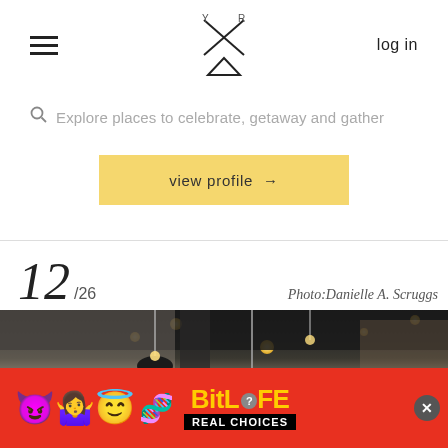navigation bar with hamburger menu, logo, and log in link
Explore places to celebrate, getaway and gather
view profile →
12/26   Photo:Danielle A. Scruggs
[Figure (photo): Interior of a restaurant or cafe with pendant lights hanging from a dark ceiling, brick walls, shelving with bottles, and patrons seated at the bar/tables]
[Figure (screenshot): BitLife mobile game advertisement banner showing emojis (devil, person, angel, DNA strand), BitLife logo in yellow, and REAL CHOICES text on black background with close button]